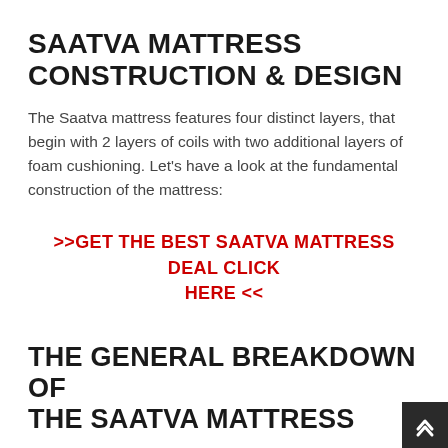SAATVA MATTRESS CONSTRUCTION & DESIGN
The Saatva mattress features four distinct layers, that begin with 2 layers of coils with two additional layers of foam cushioning. Let's have a look at the fundamental construction of the mattress:
>>GET THE BEST SAATVA MATTRESS DEAL CLICK HERE <<
THE GENERAL BREAKDOWN OF THE SAATVA MATTRESS